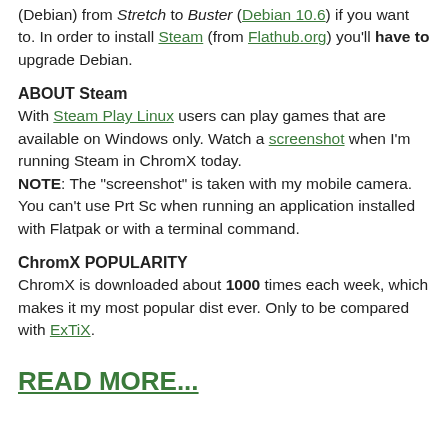(Debian) from Stretch to Buster (Debian 10.6) if you want to. In order to install Steam (from Flathub.org) you'll have to upgrade Debian.
ABOUT Steam
With Steam Play Linux users can play games that are available on Windows only. Watch a screenshot when I'm running Steam in ChromX today.
NOTE: The “screenshot” is taken with my mobile camera. You can’t use Prt Sc when running an application installed with Flatpak or with a terminal command.
ChromX POPULARITY
ChromX is downloaded about 1000 times each week, which makes it my most popular dist ever. Only to be compared with ExTiX.
READ MORE...